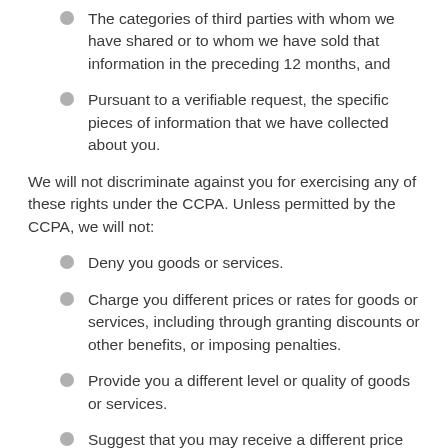The categories of third parties with whom we have shared or to whom we have sold that information in the preceding 12 months, and
Pursuant to a verifiable request, the specific pieces of information that we have collected about you.
We will not discriminate against you for exercising any of these rights under the CCPA. Unless permitted by the CCPA, we will not:
Deny you goods or services.
Charge you different prices or rates for goods or services, including through granting discounts or other benefits, or imposing penalties.
Provide you a different level or quality of goods or services.
Suggest that you may receive a different price or rate for goods or services or a